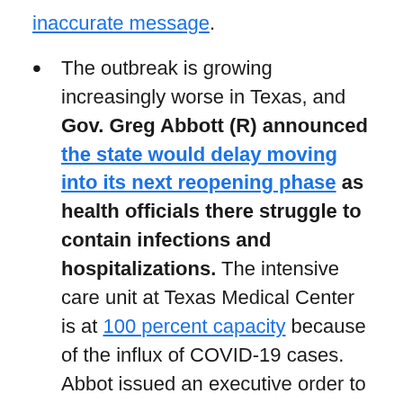inaccurate message.
The outbreak is growing increasingly worse in Texas, and Gov. Greg Abbott (R) announced the state would delay moving into its next reopening phase as health officials there struggle to contain infections and hospitalizations. The intensive care unit at Texas Medical Center is at 100 percent capacity because of the influx of COVID-19 cases. Abbot issued an executive order to suspend elective surgeries at hospitals in Bexar, Dallas, Harris and Travis counties to